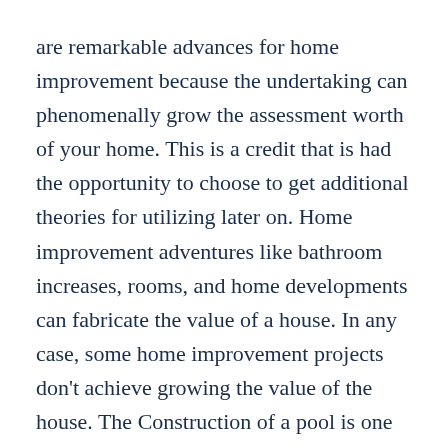are remarkable advances for home improvement because the undertaking can phenomenally grow the assessment worth of your home. This is a credit that is had the opportunity to choose to get additional theories for utilizing later on. Home improvement adventures like bathroom increases, rooms, and home developments can fabricate the value of a house. In any case, some home improvement projects don't achieve growing the value of the house. The Construction of a pool is one such endeavor.
Be careful while getting a home improvement home estimation credit. Recall that the protection that you are setting toward the glory